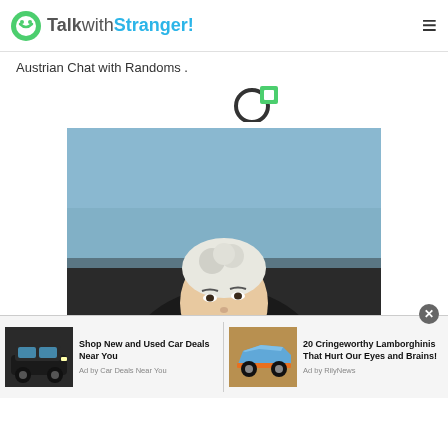TalkwithStranger!
Austrian Chat with Randoms .
[Figure (logo): Smart car brand circular logo with green square accent]
[Figure (photo): Woman with white curled hair updo, pink lipstick, black outfit, outdoor background]
[Figure (photo): Black SUV car advertisement thumbnail]
Shop New and Used Car Deals Near You
Ad by Car Deals Near You
[Figure (photo): Blue and orange Lamborghini car advertisement thumbnail]
20 Cringeworthy Lamborghinis That Hurt Our Eyes and Brains!
Ad by RilyNews